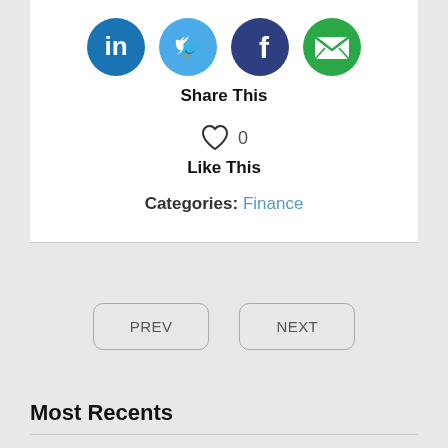[Figure (infographic): Four social media share icons in circles: LinkedIn (dark blue), Twitter (light blue), Facebook (dark navy blue), Email (green)]
Share This
[Figure (infographic): Heart icon outline followed by the number 0]
Like This
Categories: Finance
PREV
NEXT
Most Recents